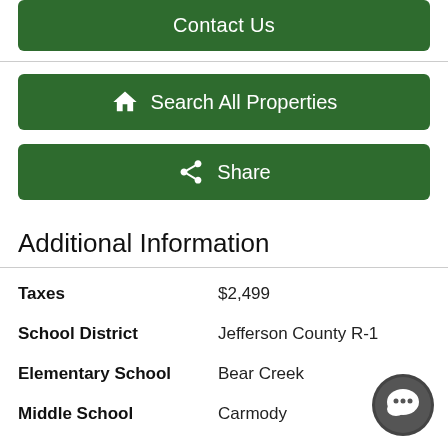[Figure (screenshot): Green 'Contact Us' button at top of page]
[Figure (screenshot): Green 'Search All Properties' button with house icon]
[Figure (screenshot): Green 'Share' button with arrow icon]
Additional Information
| Taxes | $2,499 |
| School District | Jefferson County R-1 |
| Elementary School | Bear Creek |
| Middle School | Carmody |